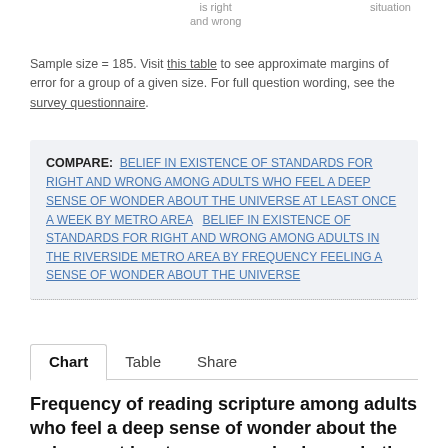is right and wrong
situation
Sample size = 185. Visit this table to see approximate margins of error for a group of a given size. For full question wording, see the survey questionnaire.
COMPARE: BELIEF IN EXISTENCE OF STANDARDS FOR RIGHT AND WRONG AMONG ADULTS WHO FEEL A DEEP SENSE OF WONDER ABOUT THE UNIVERSE AT LEAST ONCE A WEEK BY METRO AREA   BELIEF IN EXISTENCE OF STANDARDS FOR RIGHT AND WRONG AMONG ADULTS IN THE RIVERSIDE METRO AREA BY FREQUENCY FEELING A SENSE OF WONDER ABOUT THE UNIVERSE
Chart   Table   Share
Frequency of reading scripture among adults who feel a deep sense of wonder about the universe at least once a week who are in the Riverside, CA Metro Area